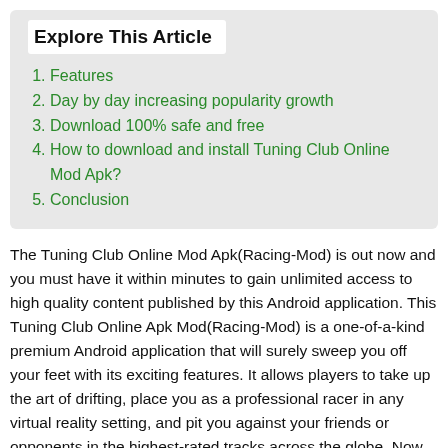Explore This Article
Features
Day by day increasing popularity growth
Download 100% safe and free
How to download and install Tuning Club Online Mod Apk?
Conclusion
The Tuning Club Online Mod Apk(Racing-Mod) is out now and you must have it within minutes to gain unlimited access to high quality content published by this Android application. This Tuning Club Online Apk Mod(Racing-Mod) is a one-of-a-kind premium Android application that will surely sweep you off your feet with its exciting features. It allows players to take up the art of drifting, place you as a professional racer in any virtual reality setting, and pit you against your friends or opponents in the highest-rated tracks across the globe. Now let us move on to the article.
Alternate Games: Gigabit Off-Road Mod Apk